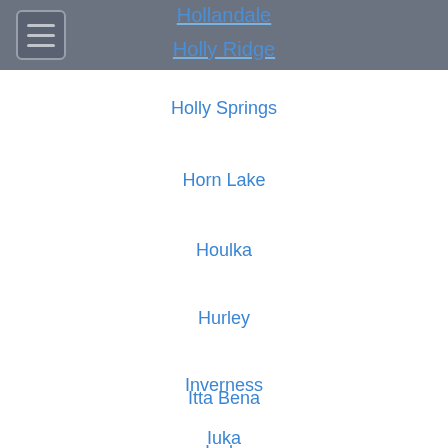Hollandale
Holly Ridge
Holly Springs
Horn Lake
Houlka
Hurley
Inverness
Isola
Itta Bena
Iuka